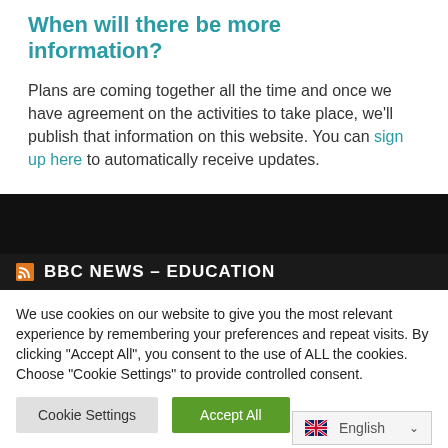When will there be more information?
Plans are coming together all the time and once we have agreement on the activities to take place, we'll publish that information on this website. You can sign up here to automatically receive updates.
BBC NEWS – EDUCATION
We use cookies on our website to give you the most relevant experience by remembering your preferences and repeat visits. By clicking "Accept All", you consent to the use of ALL the cookies. Choose "Cookie Settings" to provide controlled consent.